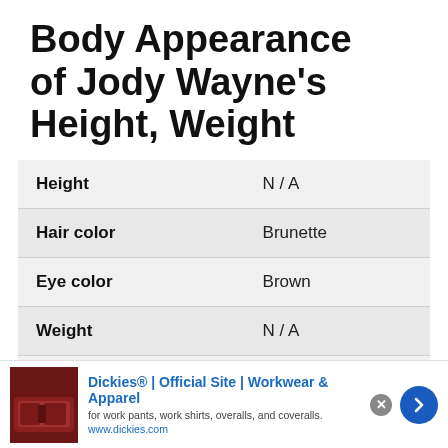Body Appearance of Jody Wayne's Height, Weight
| Attribute | Value |
| --- | --- |
| Height | N / A |
| Hair color | Brunette |
| Eye color | Brown |
| Weight | N / A |
| Body type | Fit |
[Figure (other): Advertisement banner for Dickies workwear showing a leather couch image, Dickies logo text, tagline 'for work pants, work shirts, overalls, and coveralls', URL www.dickies.com, close button, and navigation arrow]